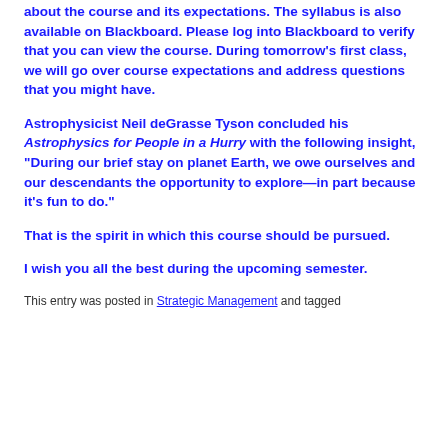about the course and its expectations. The syllabus is also available on Blackboard. Please log into Blackboard to verify that you can view the course. During tomorrow's first class, we will go over course expectations and address questions that you might have.
Astrophysicist Neil deGrasse Tyson concluded his Astrophysics for People in a Hurry with the following insight, “During our brief stay on planet Earth, we owe ourselves and our descendants the opportunity to explore—in part because it’s fun to do.”
That is the spirit in which this course should be pursued.
I wish you all the best during the upcoming semester.
This entry was posted in Strategic Management and tagged